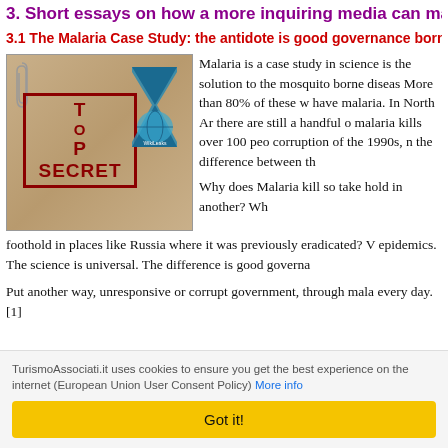3. Short essays on how a more inquiring media can make a diffe...
3.1 The Malaria Case Study: the antidote is good governance born from a stro...
[Figure (photo): Photo of a 'TOP SECRET' stamp in red on a brownish background with a paperclip, and a WikiLeaks hourglass logo in the top right corner.]
Malaria is a case study in... science is the solution to... the mosquito borne diseas... More than 80% of these w... have malaria. In North Ar... there are still a handful o... malaria kills over 100 peo... corruption of the 1990s, n... the difference between th...
Why does Malaria kill so... take hold in another? Wh... foothold in places like Russia where it was previously eradicated? V... epidemics. The science is universal. The difference is good governa...
Put another way, unresponsive or corrupt government, through mala... every day. [1]
TurismoAssociati.it uses cookies to ensure you get the best experience on the internet (European Union User Consent Policy) More info
Got it!